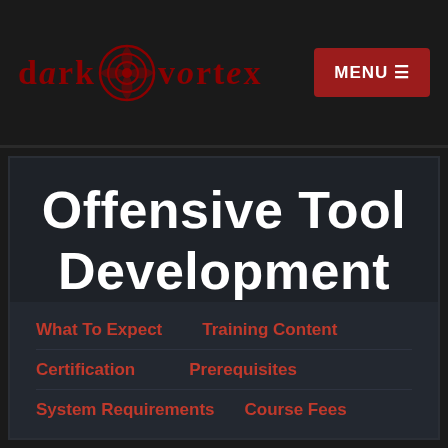dark vortex   MENU
Offensive Tool Development
What To Expect
Training Content
Certification
Prerequisites
System Requirements
Course Fees